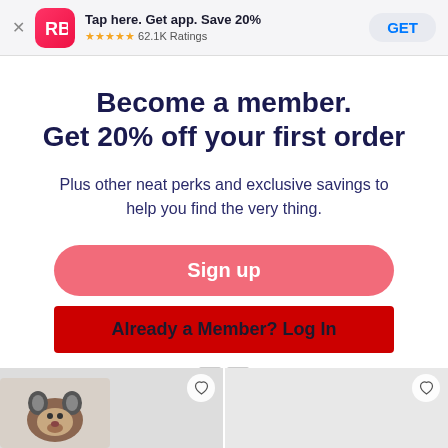[Figure (screenshot): App store banner with RB logo, title 'Tap here. Get app. Save 20%', star rating '62.1K Ratings', and GET button]
Become a member.
Get 20% off your first order
Plus other neat perks and exclusive savings to help you find the very thing.
Sign up
Already a Member? Log In
[Figure (photo): Two product thumbnail tiles at bottom showing merchandise items with heart/favorite buttons]